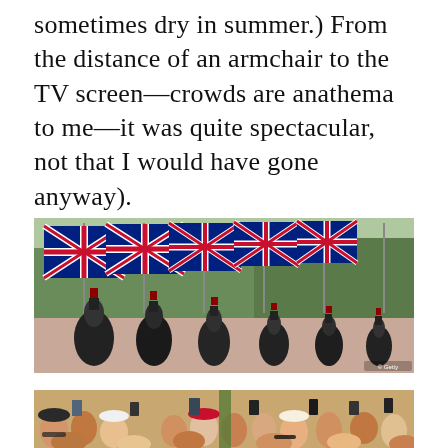sometimes dry in summer.) From the distance of an armchair to the TV screen—crowds are anathema to me—it was quite spectacular, not that I would have gone anyway).
[Figure (photo): A procession of mounted Horse Guards in black uniforms with red plumes riding down The Mall in London, lined on both sides with tall flagpoles bearing large Union Jack flags. Trees are visible in the background.]
[Figure (photo): A large crowd of spectators, many holding up phones and cameras to photograph or film an event. People are closely packed together, some wearing hats, visible from the chest up.]